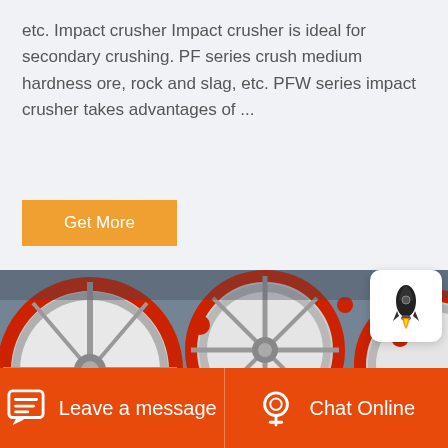etc. Impact crusher Impact crusher is ideal for secondary crushing. PF series crush medium hardness ore, rock and slag, etc. PFW series impact crusher takes advantages of ...
Get More
[Figure (photo): Industrial crusher machinery showing large red and grey flywheels with black drive belts and an electric motor, industrial mining equipment]
Leave a message
Chat Online